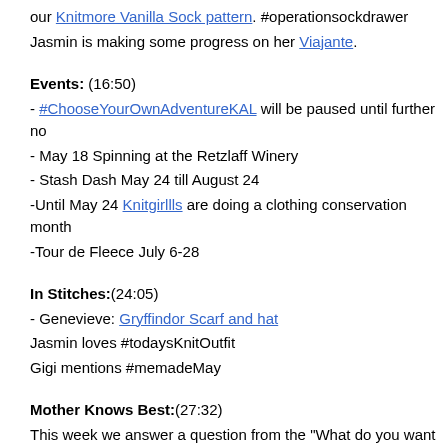our Knitmore Vanilla Sock pattern. #operationsockdrawer
Jasmin is making some progress on her Viajante.
Events: (16:50)
- #ChooseYourOwnAdventureKAL will be paused until further no
- May 18 Spinning at the Retzlaff Winery
- Stash Dash May 24 till August 24
-Until May 24 Knitgirllls are doing a clothing conservation month
-Tour de Fleece July 6-28
In Stitches:(24:05)
- Genevieve: Gryffindor Scarf and hat
Jasmin loves #todaysKnitOutfit
Gigi mentions #memadeMay
Mother Knows Best:(27:32)
This week we answer a question from the "What do you want to